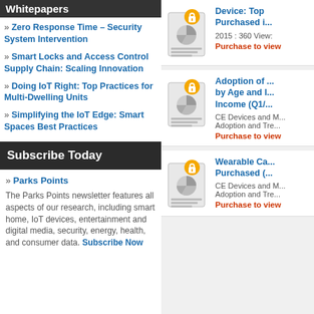Whitepapers
» Zero Response Time – Security System Intervention
» Smart Locks and Access Control Supply Chain: Scaling Innovation
» Doing IoT Right: Top Practices for Multi-Dwelling Units
» Simplifying the IoT Edge: Smart Spaces Best Practices
Subscribe Today
» Parks Points
The Parks Points newsletter features all aspects of our research, including smart home, IoT devices, entertainment and digital media, security, energy, health, and consumer data. Subscribe Now
[Figure (illustration): Locked document thumbnail icon with orange padlock for report: Device: Top ... Purchased i...]
Device: Top ... Purchased i...
2015 : 360 View:
Purchase to view
[Figure (illustration): Locked document thumbnail icon with orange padlock for report: Adoption of ... by Age and I... Income (Q1/...]
Adoption of ... by Age and I... Income (Q1/...
CE Devices and M... Adoption and Tre...
Purchase to view
[Figure (illustration): Locked document thumbnail icon with orange padlock for report: Wearable Ca... Purchased (...]
Wearable Ca... Purchased (...
CE Devices and M... Adoption and Tre...
Purchase to view